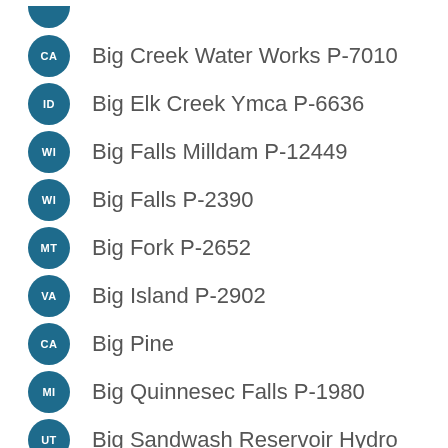(partial entry at top)
CA Big Creek Water Works P-7010
ID Big Elk Creek Ymca P-6636
WI Big Falls Milldam P-12449
WI Big Falls P-2390
MT Big Fork P-2652
VA Big Island P-2902
CA Big Pine
MI Big Quinnesec Falls P-1980
UT Big Sandwash Reservoir Hydro